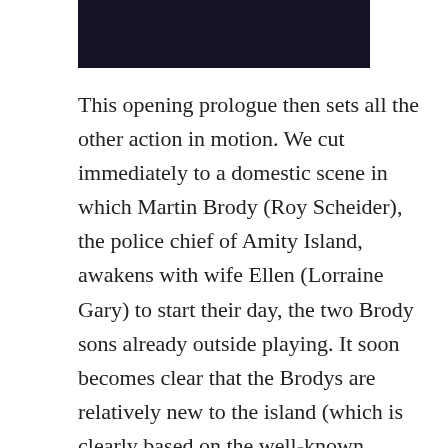[Figure (photo): Dark cinematic still image bar at top of page]
This opening prologue then sets all the other action in motion. We cut immediately to a domestic scene in which Martin Brody (Roy Scheider), the police chief of Amity Island, awakens with wife Ellen (Lorraine Gary) to start their day, the two Brody sons already outside playing. It soon becomes clear that the Brodys are relatively new to the island (which is clearly based on the well-known Massachusetts tourist colony of Martha's Vineyard, where most of the film was shot), having moved there from New York only a few months before. Adding a quick touch of atmosphere, one of the Brody boys comes into the kitchen with blood streaming down his hand from a minor accident on the swings, though he claims to have been attacked by a